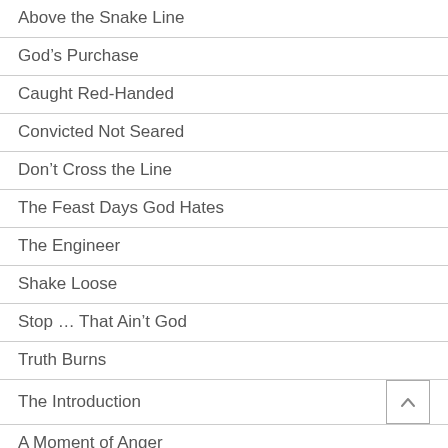Above the Snake Line
God's Purchase
Caught Red-Handed
Convicted Not Seared
Don't Cross the Line
The Feast Days God Hates
The Engineer
Shake Loose
Stop … That Ain't God
Truth Burns
The Introduction
A Moment of Anger
Sin Dwelleth in the flesh